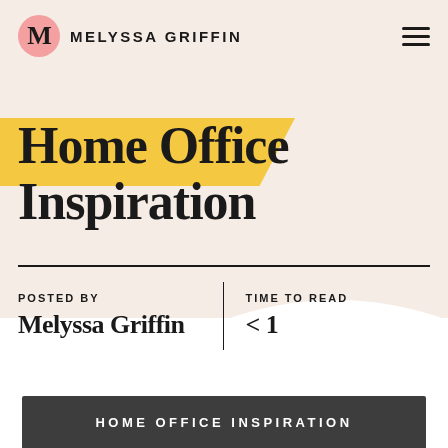MELYSSA GRIFFIN
Home Office Inspiration
POSTED BY Melyssa Griffin | TIME TO READ < 1
HOME OFFICE INSPIRATION